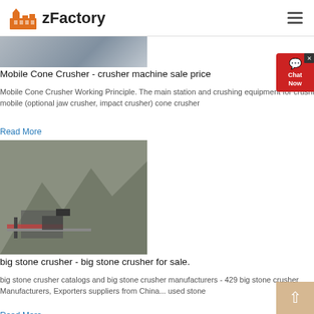zFactory
[Figure (photo): Photo of mobile cone crusher machinery]
Mobile Cone Crusher - crusher machine sale price
Mobile Cone Crusher Working Principle. The main station and crushing equipment for crushing tyre mobile (optional jaw crusher, impact crusher) cone crusher
Read More
[Figure (photo): Aerial photo of big stone crusher machinery at a quarry site]
big stone crusher - big stone crusher for sale.
big stone crusher catalogs and big stone crusher manufacturers - 429 big stone crusher Manufacturers, Exporters suppliers from China... used stone
Read More